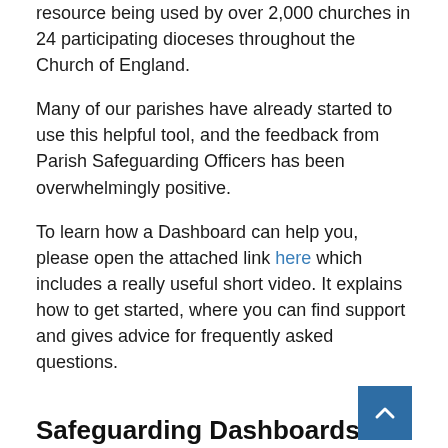resource being used by over 2,000 churches in 24 participating dioceses throughout the Church of England.
Many of our parishes have already started to use this helpful tool, and the feedback from Parish Safeguarding Officers has been overwhelmingly positive.
To learn how a Dashboard can help you, please open the attached link here which includes a really useful short video. It explains how to get started, where you can find support and gives advice for frequently asked questions.
Safeguarding Dashboards
More information on Safeguarding Dashboards can be found here.